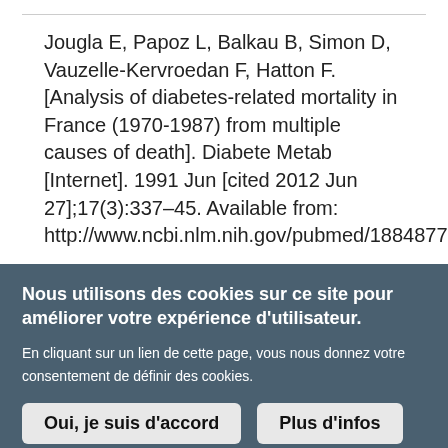Jougla E, Papoz L, Balkau B, Simon D, Vauzelle-Kervroedan F, Hatton F. [Analysis of diabetes-related mortality in France (1970-1987) from multiple causes of death]. Diabete Metab [Internet]. 1991 Jun [cited 2012 Jun 27];17(3):337–45. Available from: http://www.ncbi.nlm.nih.gov/pubmed/1884877
Nous utilisons des cookies sur ce site pour améliorer votre expérience d'utilisateur.
En cliquant sur un lien de cette page, vous nous donnez votre consentement de définir des cookies.
Oui, je suis d'accord
Plus d'infos